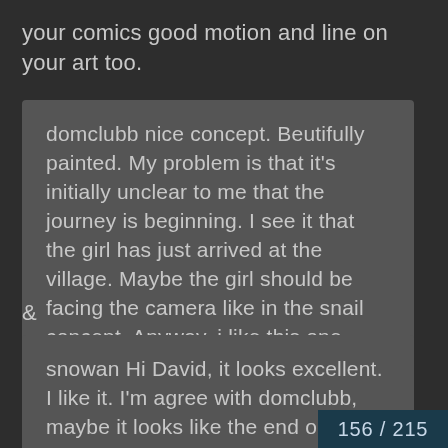your comics good motion and line on your art too.
domclubb nice concept. Beutifully painted. My problem is that it's initially unclear to me that the journey is beginning. I see it that the girl has just arrived at the village. Maybe the girl should be facing the camera like in the snail concept. Anyway, i like this one. Keep it up!
&
snowan Hi David, it looks excellent. I like it. I'm agree with domclubb, maybe it looks like the end or middle o
156 / 215